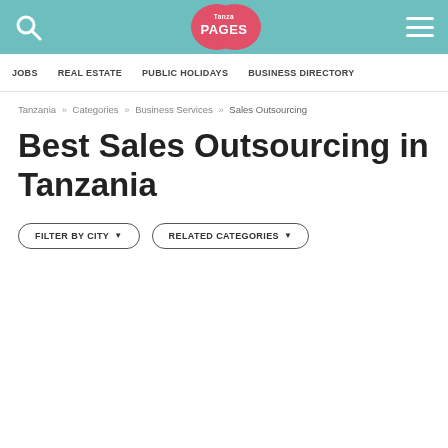TanzaPages — navigation header with search, logo, and menu
JOBS   REAL ESTATE   PUBLIC HOLIDAYS   BUSINESS DIRECTORY
Tanzania » Categories » Business Services » Sales Outsourcing
Best Sales Outsourcing in Tanzania
FILTER BY CITY ▾   RELATED CATEGORIES ▾